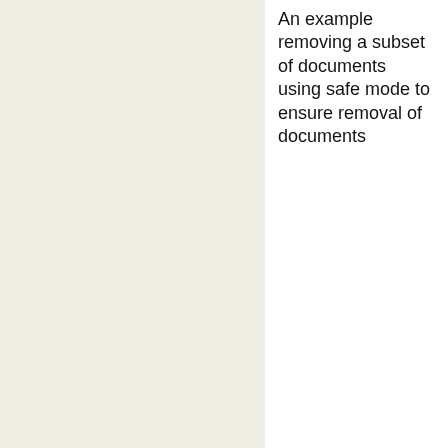An example removing a subset of documents using safe mode to ensure removal of documents
[Figure (screenshot): A code block (partially visible) showing JavaScript/code with 'var' keywords in green and a comment line, inside a bordered white box on a white background.]